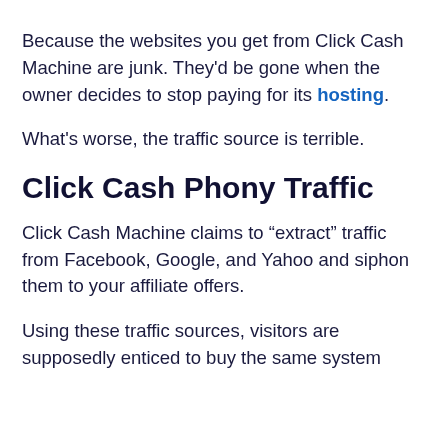Because the websites you get from Click Cash Machine are junk. They'd be gone when the owner decides to stop paying for its hosting.
What's worse, the traffic source is terrible.
Click Cash Phony Traffic
Click Cash Machine claims to “extract” traffic from Facebook, Google, and Yahoo and siphon them to your affiliate offers.
Using these traffic sources, visitors are supposedly enticed to buy the same system